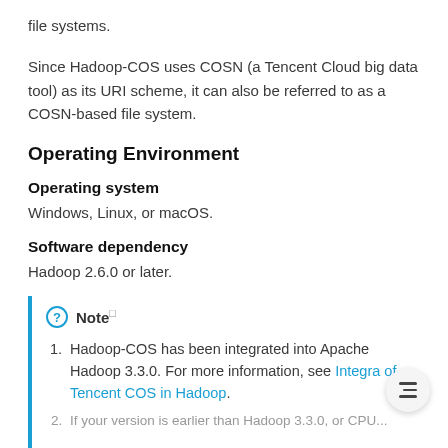file systems.
Since Hadoop-COS uses COSN (a Tencent Cloud big data tool) as its URI scheme, it can also be referred to as a COSN-based file system.
Operating Environment
Operating system
Windows, Linux, or macOS.
Software dependency
Hadoop 2.6.0 or later.
Note
1. Hadoop-COS has been integrated into Apache Hadoop 3.3.0. For more information, see Integra of Tencent COS in Hadoop.
2. If your version is earlier than Hadoop 3.3.0, or CPU...